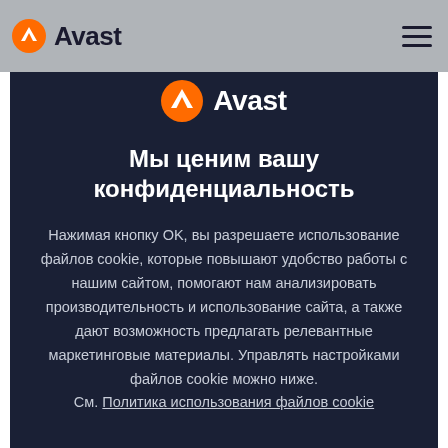Avast
[Figure (logo): Avast logo with orange circle icon and white 'Avast' text on dark modal]
Мы ценим вашу конфиденциальность
Нажимая кнопку OK, вы разрешаете использование файлов cookie, которые повышают удобство работы с нашим сайтом, помогают нам анализировать производительность и использование сайта, а также дают возможность предлагать релевантные маркетинговые материалы. Управлять настройками файлов cookie можно ниже. См. Политика использования файлов cookie